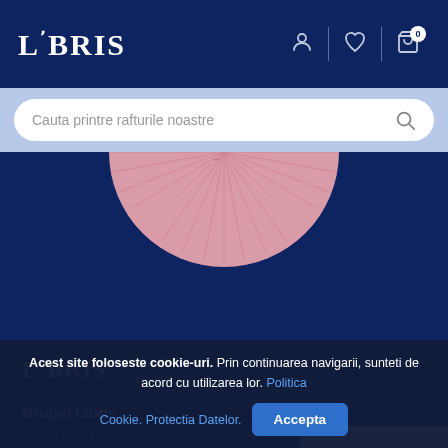LIBRIS — navigation bar with user icon, heart icon, and cart icon (badge: 0)
Cauta printre rafturile noastre
[Figure (illustration): Pink semicircle decorative element on dark blue background, resembling a protractor or fan shape]
[Figure (logo): LIBRIS logo with tagline 'We know books' on dark blue background]
Grupul Libris
Pentru clientii
Suport eBo...
Acest site foloseste cookie-uri. Prin continuarea navigarii, sunteti de acord cu utilizarea lor. Politica Cookie. Protectia Datelor.
Accepta